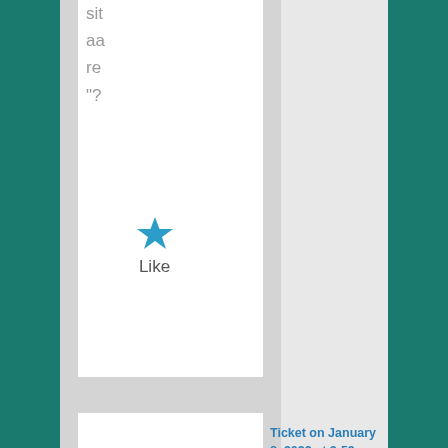sit
aa
re
"?
[Figure (illustration): Blue star icon with 'Like' text below]
[Figure (illustration): Admit One ticket stub image]
Ticket on January 8, 2022 at 3:59 pm said: